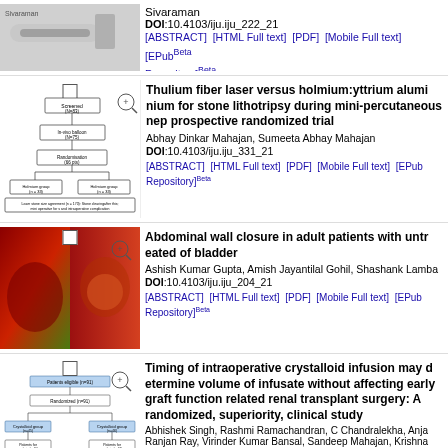[Figure (screenshot): Article thumbnail showing a medical device image]
Sivaraman
DOI:10.4103/iju.iju_222_21
[ABSTRACT] [HTML Full text] [PDF] [Mobile Full text] [EPub] [Repository]Beta
[Figure (flowchart): Flowchart showing randomization groups with screening, follow-up, and laser dose comparison]
Thulium fiber laser versus holmium:yttrium aluminium garnet laser for stone lithotripsy during mini-percutaneous nephrolithotomy: A prospective randomized trial
Abhay Dinkar Mahajan, Sumeeta Abhay Mahajan
DOI:10.4103/iju.iju_331_21
[ABSTRACT] [HTML Full text] [PDF] [Mobile Full text] [EPub] [Repository]Beta
[Figure (photo): Surgical photograph showing abdominal wall/bladder tissue]
Abdominal wall closure in adult patients with untreated bladder exstrophy: Our technique for primary repair of bladder
Ashish Kumar Gupta, Amish Jayantilal Gohil, Shashank Lamba
DOI:10.4103/iju.iju_204_21
[ABSTRACT] [HTML Full text] [PDF] [Mobile Full text] [EPub] [Repository]Beta
[Figure (flowchart): Flowchart for renal transplant study randomization]
Timing of intraoperative crystalloid infusion may determine the volume of infusate without affecting early graft function in living related renal transplant surgery: A randomized, superiority, clinical study
Abhishek Singh, Rashmi Ramachandran, C Chandralekha, Anja
Ranjan Ray, Virinder Kumar Bansal, Sandeep Mahajan, Krishna
DOI:10.4103/iju.iju_239_21
[ABSTRACT] [HTML Full text] [PDF] [Mobile Full text] [EPub]